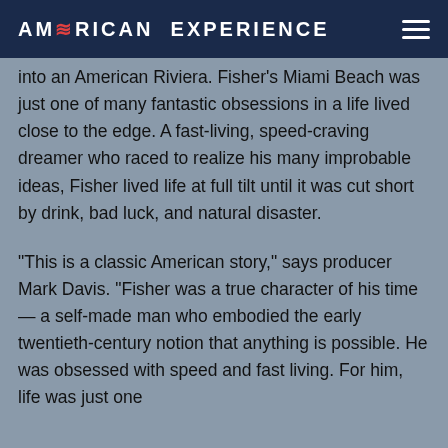AMERICAN EXPERIENCE
into an American Riviera. Fisher's Miami Beach was just one of many fantastic obsessions in a life lived close to the edge. A fast-living, speed-craving dreamer who raced to realize his many improbable ideas, Fisher lived life at full tilt until it was cut short by drink, bad luck, and natural disaster.
"This is a classic American story," says producer Mark Davis. "Fisher was a true character of his time — a self-made man who embodied the early twentieth-century notion that anything is possible. He was obsessed with speed and fast living. For him, life was just one bell of a competition on a titian."